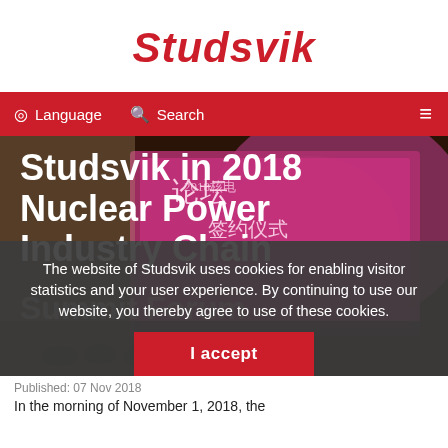Studsvik
Language  Search
[Figure (photo): Conference hall with a large pink/magenta LED display showing Chinese text and '2018', with attendees seated at a table on a stage.]
Studsvik in 2018 Nuclear Power Industry Chain Summit Forum
The website of Studsvik uses cookies for enabling visitor statistics and your user experience. By continuing to use our website, you thereby agree to use of these cookies.
I accept
Published: 07 Nov 2018
In the morning of November 1, 2018, the